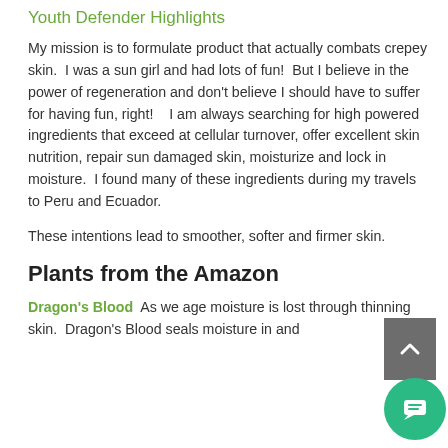Youth Defender Highlights
My mission is to formulate product that actually combats crepey skin.  I was a sun girl and had lots of fun!  But I believe in the power of regeneration and don't believe I should have to suffer for having fun, right!   I am always searching for high powered ingredients that exceed at cellular turnover, offer excellent skin nutrition, repair sun damaged skin, moisturize and lock in moisture.  I found many of these ingredients during my travels to Peru and Ecuador.
These intentions lead to smoother, softer and firmer skin.
Plants from the Amazon
Dragon's Blood  As we age moisture is lost through thinning skin.  Dragon's Blood seals moisture in and